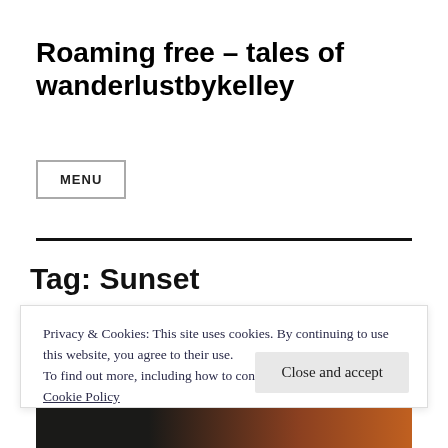Roaming free – tales of wanderlustbykelley
MENU
Tag: Sunset
Privacy & Cookies: This site uses cookies. By continuing to use this website, you agree to their use.
To find out more, including how to control cookies, see here:
Cookie Policy
Close and accept
[Figure (photo): Partial view of a sunset photo with dark silhouettes and warm orange tones at the bottom of the page]